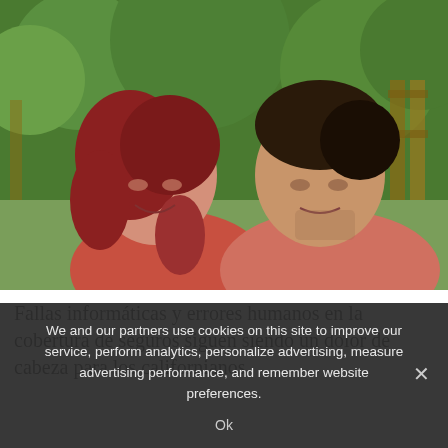[Figure (photo): Two people smiling outdoors under a red umbrella with green foliage in the background. An older woman with reddish hair wearing a coral/red top and a younger man in a coral/salmon shirt.]
Fallas informáticas y errores humanos en la cobertura de seguros siguen siendo un dolor de cabeza para los californianos
We and our partners use cookies on this site to improve our service, perform analytics, personalize advertising, measure advertising performance, and remember website preferences.